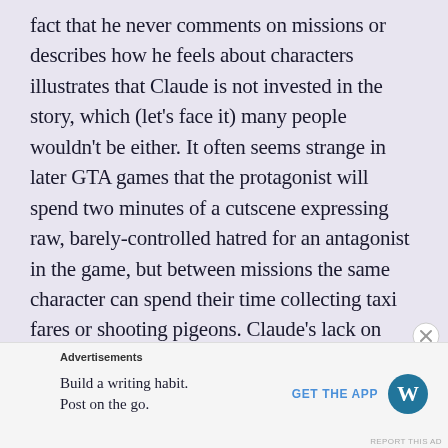fact that he never comments on missions or describes how he feels about characters illustrates that Claude is not invested in the story, which (let's face it) many people wouldn't be either. It often seems strange in later GTA games that the protagonist will spend two minutes of a cutscene expressing raw, barely-controlled hatred for an antagonist in the game, but between missions the same character can spend their time collecting taxi fares or shooting pigeons. Claude's lack on investment makes sense inside the GTA sandbox.
Advertisements
Build a writing habit. Post on the go.
GET THE APP